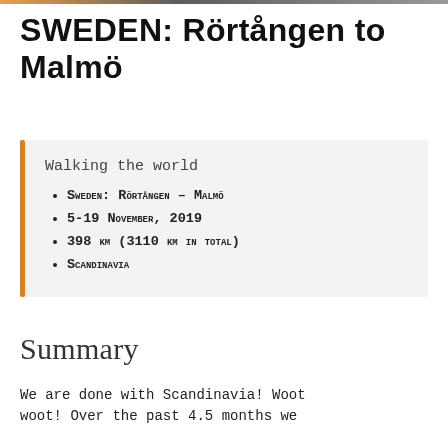SWEDEN: Rörtången to Malmö
Walking the world
Sweden: Rörtången – Malmö
5-19 November, 2019
398 km (3110 km in total)
Scandinavia
Summary
We are done with Scandinavia! Woot woot! Over the past 4.5 months we